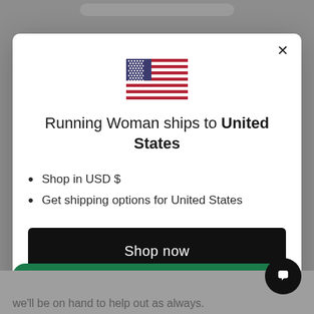[Figure (screenshot): US flag emoji/icon centered in modal]
Running Woman ships to United States
Shop in USD $
Get shipping options for United States
Shop now
Change shipping country